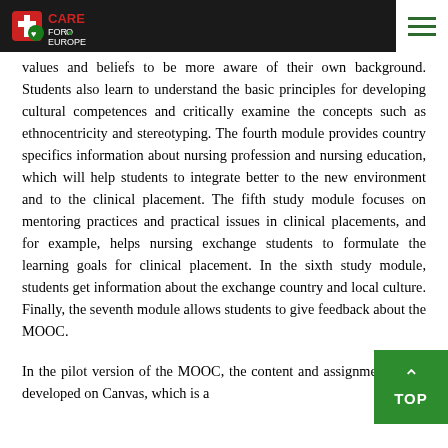CARE FOR EUROPE
values and beliefs to be more aware of their own background. Students also learn to understand the basic principles for developing cultural competences and critically examine the concepts such as ethnocentricity and stereotyping. The fourth module provides country specifics information about nursing profession and nursing education, which will help students to integrate better to the new environment and to the clinical placement. The fifth study module focuses on mentoring practices and practical issues in clinical placements, and for example, helps nursing exchange students to formulate the learning goals for clinical placement. In the sixth study module, students get information about the exchange country and local culture. Finally, the seventh module allows students to give feedback about the MOOC.
In the pilot version of the MOOC, the content and assignments were developed on Canvas, which is a